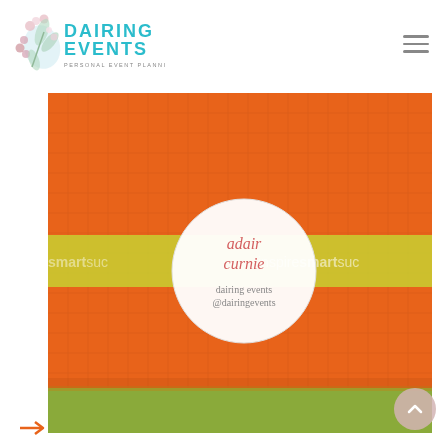[Figure (logo): Dairing Events logo with floral illustration and text 'DAIRING EVENTS']
[Figure (photo): An orange textured box/binder with a yellow-green ribbon across the middle and a white circular sticker label reading 'adair curnie, dairing events @dairingevents'. Background text reads 'inspiresmartsuc' on the ribbon.]